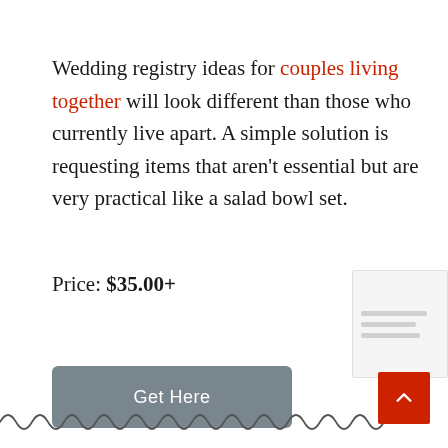Wedding registry ideas for couples living together will look different than those who currently live apart. A simple solution is requesting items that aren't essential but are very practical like a salad bowl set.
Price: $35.00+
Get Here